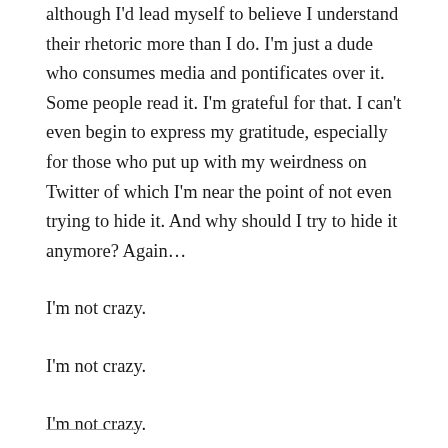although I'd lead myself to believe I understand their rhetoric more than I do. I'm just a dude who consumes media and pontificates over it. Some people read it. I'm grateful for that. I can't even begin to express my gratitude, especially for those who put up with my weirdness on Twitter of which I'm near the point of not even trying to hide it. And why should I try to hide it anymore? Again…
I'm not crazy.
I'm not crazy.
I'm not crazy.